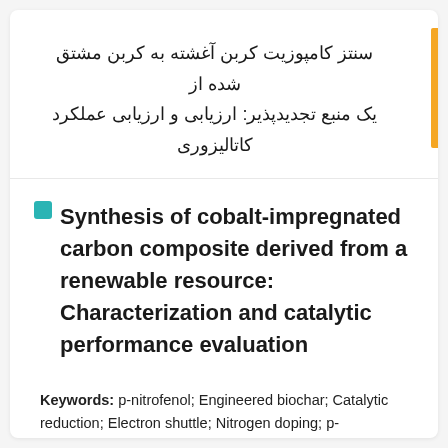سنتز کامپوزیت کربن آغشته به کربن مشتق شده از یک منبع تجدیدپذیر: ارزیابی و ارزیابی عملکرد کاتالیزوری
Synthesis of cobalt-impregnated carbon composite derived from a renewable resource: Characterization and catalytic performance evaluation
Keywords: p-nitrofenol; Engineered biochar; Catalytic reduction; Electron shuttle; Nitrogen doping; p-Nitrophenol; Glucose;